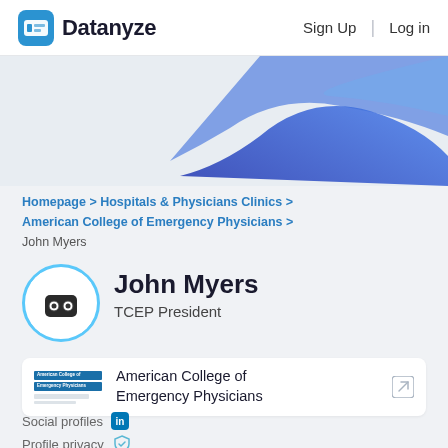Datanyze  Sign Up  Log in
[Figure (illustration): Blue wave/blob decorative background hero image in upper right]
Homepage > Hospitals & Physicians Clinics > American College of Emergency Physicians > John Myers
John Myers
TCEP President
American College of Emergency Physicians
Social profiles
Profile privacy